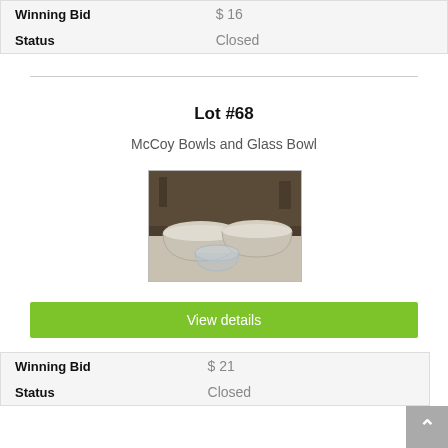|  |  |
| --- | --- |
| Winning Bid | $ 16 |
| Status | Closed |
Lot #68
McCoy Bowls and Glass Bowl
[Figure (photo): Photo of two cream-colored McCoy bowls and a glass bowl arranged on a cloth surface]
View details
|  |  |
| --- | --- |
| Winning Bid | $ 21 |
| Status | Closed |